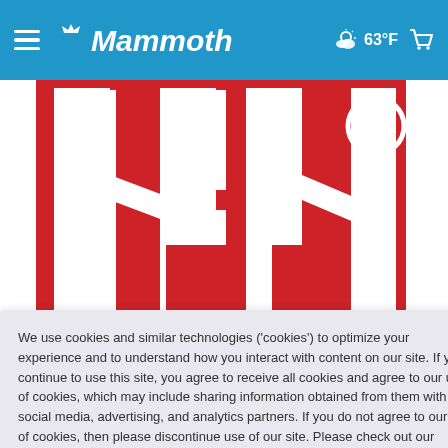Mammoth — 63°F
[Figure (logo): Helly Hansen logo — red background with white HH letters and registered trademark symbol]
We use cookies and similar technologies ('cookies') to optimize your experience and to understand how you interact with content on our site. If you continue to use this site, you agree to receive all cookies and agree to our use of cookies, which may include sharing information obtained from them with our social media, advertising, and analytics partners. If you do not agree to our use of cookies, then please discontinue use of our site. Please check out our privacy policy. Learn More
Accept and Continue
Since 1877, Helly Hansen has been on the forefront of